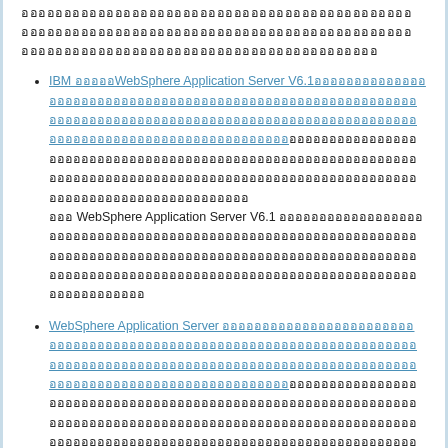ออออออออออออออออออออออออออออออออออออออออออออออออออออออออออออออออ
IBM อออออWebSphere Application Server V6.1ออออออออออออออออออออออออออออออ อออ WebSphere Application Server V6.1 ออออออออออออออออออออออ
WebSphere Application Server ออออออออออออออออออออออออออออออออออออออออ WebSphere Application Server ออออออออออออออออออออ
WebSphere Application Server V6 ออออออออออออออออออออออออออออออออออออออออออออออออออออออออออออออออออออออออออออออออออออออออออออออออออออออ WebSphere Application Server ออออออออออออออออออออออออออออออออออออออออออออออออออออออออออออออออออออออออ
WebSphere Application Server อออออออออ WebSphere ออออออออออออออออออออ WebSphere ออออออออออออออออออออออออออออออออออออออออออออออออออออออออออออออออออออออออออออออออออออออออออออออออ WebSphere ออออออออออออออออออออออออออออออออออออออออออออออออออออออออออออออออออออออออออออออออออออออออออออออออ
WebSphere Application Server ออออออออออออออออออออออออออออออออออออออออออออออออออ IBM WebSphere ออออออออออออออออออออออออออออออออออออออออออออออออออออออออออออออออ
WebSphere Application Server ออออออออออออออออออออออออออออออออออออออออออออออออออออออออออออออ IBM WebSphere ออออออออออออออออออออออออออออออออออออออออออออออออออออออออออออออออออออออออออออออออออออออออออออออออออออออออออ